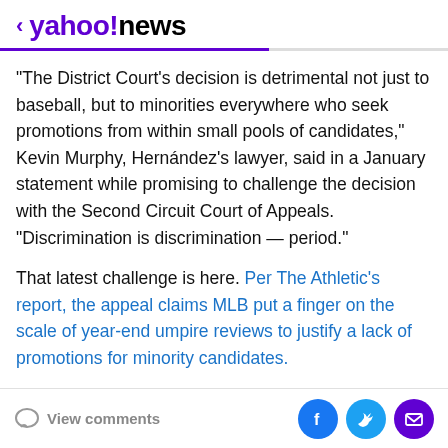< yahoo!news
“The District Court’s decision is detrimental not just to baseball, but to minorities everywhere who seek promotions from within small pools of candidates,” Kevin Murphy, Hernández’s lawyer, said in a January statement while promising to challenge the decision with the Second Circuit Court of Appeals. “Discrimination is discrimination — period.”
That latest challenge is here. Per The Athletic’s report, the appeal claims MLB put a finger on the scale of year-end umpire reviews to justify a lack of promotions for minority candidates.
View comments